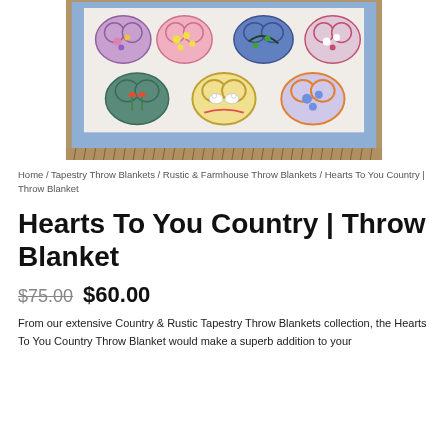[Figure (photo): A tapestry throw blanket with multiple heart designs featuring flowers, birds, and floral patterns in a grid layout with a blue border and fringe edge.]
Home / Tapestry Throw Blankets / Rustic & Farmhouse Throw Blankets / Hearts To You Country | Throw Blanket
Hearts To You Country | Throw Blanket
$75.00  $60.00
From our extensive Country & Rustic Tapestry Throw Blankets collection, the Hearts To You Country Throw Blanket would make a superb addition to your